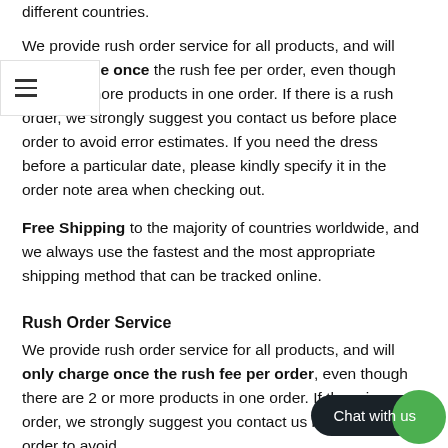different countries.
We provide rush order service for all products, and will only charge once the rush fee per order, even though there are more products in one order. If there is a rush order, we strongly suggest you contact us before place order to avoid error estimates. If you need the dress before a particular date, please kindly specify it in the order note area when checking out.
Free Shipping to the majority of countries worldwide, and we always use the fastest and the most appropriate shipping method that can be tracked online.
Rush Order Service
We provide rush order service for all products, and will only charge once the rush fee per order, even though there are 2 or more products in one order. If there is a rush order, we strongly suggest you contact us before place order to avoid